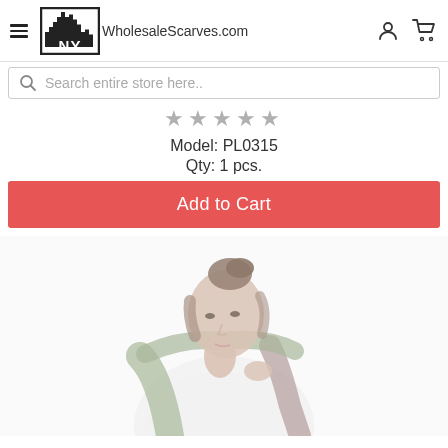NY WholesaleScarves.com
★★★★★
Model: PL0315
Qty: 1 pcs.
Add to Cart
[Figure (photo): Woman wearing a light olive/sage green scarf draped over her shoulders, dressed in a white top. Hair styled up in a bun. Photo is slightly blurred/soft focus.]